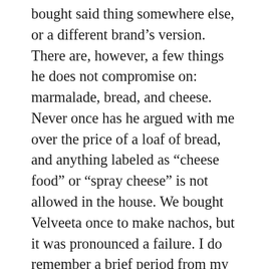bought said thing somewhere else, or a different brand's version. There are, however, a few things he does not compromise on: marmalade, bread, and cheese. Never once has he argued with me over the price of a loaf of bread, and anything labeled as “cheese food” or “spray cheese” is not allowed in the house. We bought Velveeta once to make nachos, but it was pronounced a failure. I do remember a brief period from my childhood when we had Kraft slices at home, possibly because I had begged for them–I have absolutely no memories of taking them to school for lunch, but I think we used them for cheese toast–but when Cabot cheese appeared in our local supermarket, that was the end of individually